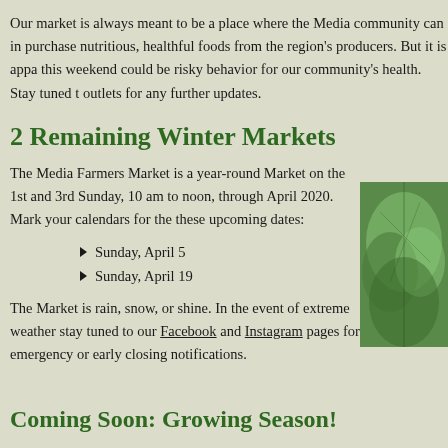Our market is always meant to be a place where the Media community can in purchase nutritious, healthful foods from the region's producers. But it is appa this weekend could be risky behavior for our community's health. Stay tuned t outlets for any further updates.
2 Remaining Winter Markets
The Media Farmers Market is a year-round Market on the 1st and 3rd Sunday, 10 am to noon, through April 2020. Mark your calendars for the these upcoming dates:
Sunday, April 5
Sunday, April 19
The Market is rain, snow, or shine. In the event of extreme weather stay tuned to our Facebook and Instagram pages for emergency or early closing notifications.
[Figure (photo): Close-up photo of green leafy vegetable or plant]
Coming Soon: Growing Season!